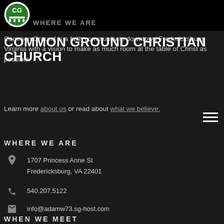[Figure (logo): Common Ground Christian Church circular logo with CG letters in green and white]
WHERE WE ARE
COMMON GROUND CHRISTIAN CHURCH
Common Ground is a faith community in downtown Fredericksburg, Virginia with a vision to make as much room at the table of Christ as possible.
Learn more about us or read about what we believe.
WHERE WE ARE
1707 Princess Anne St
Fredericksburg, VA 22401
540.207.5122
info@adamw73.sg-host.com
WHEN WE MEET